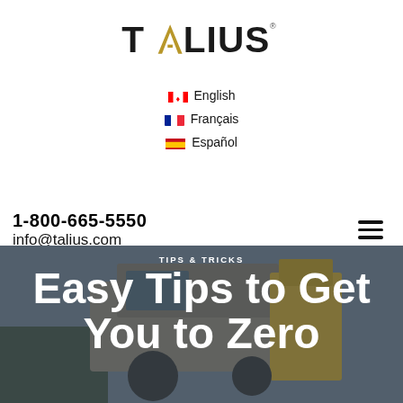[Figure (logo): TALIUS logo with gold stylized A letter and registered trademark symbol]
🇨🇦 English
🇫🇷 Français
🇪🇸 Español
1-800-665-5550
info@talius.com
[Figure (infographic): Hero image: industrial harvesting/construction machine (combine harvester) with overlay text. Category label: TIPS & TRICKS. Title: Easy Tips to Get You to Zero]
TIPS & TRICKS
Easy Tips to Get You to Zero